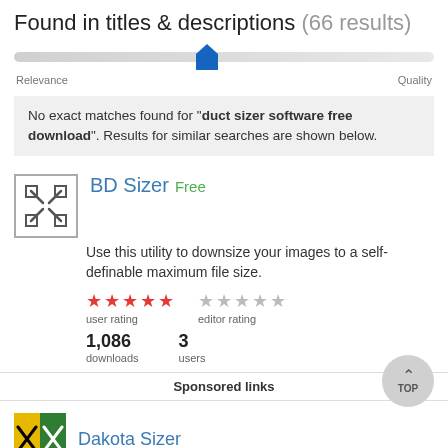Found in titles & descriptions (66 results)
[Figure (other): Relevance-to-Quality slider control with blue thumb positioned left-of-center]
No exact matches found for "duct sizer software free download". Results for similar searches are shown below.
BD Sizer Free
Use this utility to downsize your images to a self-definable maximum file size.
★★★★★ user rating  ☆☆☆☆☆ editor rating
1,086 downloads  3 users
Sponsored links
Dakota Sizer